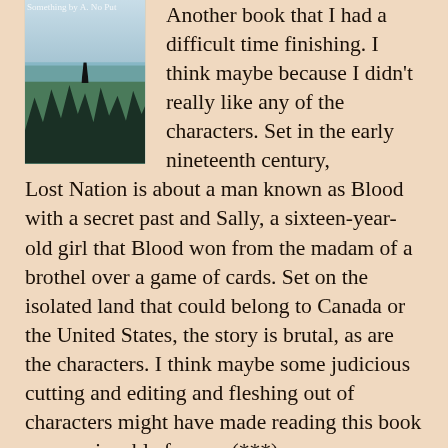[Figure (photo): Book cover for Lost Nation showing a figure silhouetted against a lake and forest landscape in blue-grey tones]
Another book that I had a difficult time finishing. I think maybe because I didn't really like any of the characters. Set in the early nineteenth century, Lost Nation is about a man known as Blood with a secret past and Sally, a sixteen-year-old girl that Blood won from the madam of a brothel over a game of cards. Set on the isolated land that could belong to Canada or the United States, the story is brutal, as are the characters. I think maybe some judicious cutting and editing and fleshing out of characters might have made reading this book more enjoyable for me. (***)
[Figure (photo): Book cover for Ninth House by Leigh Bardugo - black cover with stylized title text and snake imagery]
Leigh Bardugo: Ninth House
Sort of a Harry Potter for adults (although this adult enjoyed the actual Harry Potter more). It